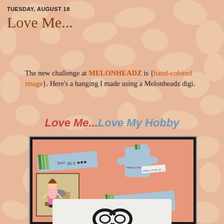TUESDAY, AUGUST 18
Love Me...
The new challenge at MELONHEADZ is {hand-colored image}. Here's a hanging I made using a Melonheadz digi.
Love Me...Love My Hobby
[Figure (photo): A handmade craft hanging on a salmon/pink background. Features decorative puzzle piece, blue label strips reading 'love me' and 'my hobby', a hand-colored girl at a sewing machine, and a watermark 'Deanne Saunders 2015'.]
[Figure (photo): Bottom portion of a second craft project showing a white background with a decorative black element.]